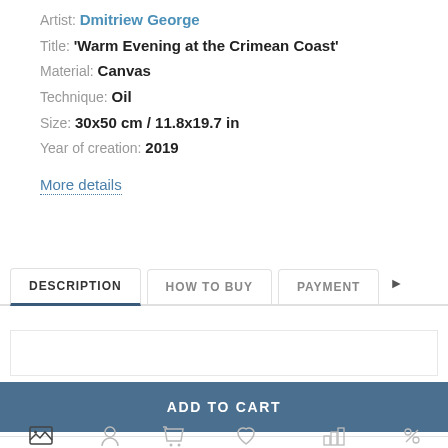Artist: Dmitriew George
Title: 'Warm Evening at the Crimean Coast'
Material: Canvas
Technique: Oil
Size: 30x50 cm / 11.8x19.7 in
Year of creation: 2019
More details
DESCRIPTION | HOW TO BUY | PAYMENT
ADD TO CART
Catalog | Artists | Cart | Favorites | Comparison | Sale